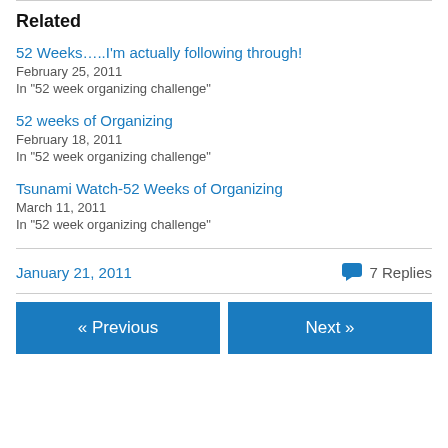Related
52 Weeks…..I'm actually following through!
February 25, 2011
In "52 week organizing challenge"
52 weeks of Organizing
February 18, 2011
In "52 week organizing challenge"
Tsunami Watch-52 Weeks of Organizing
March 11, 2011
In "52 week organizing challenge"
January 21, 2011   💬 7 Replies
« Previous   Next »